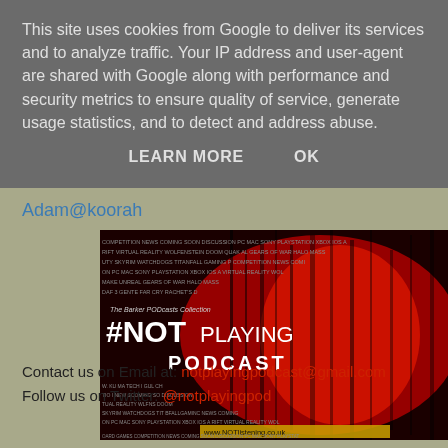This site uses cookies from Google to deliver its services and to analyze traffic. Your IP address and user-agent are shared with Google along with performance and security metrics to ensure quality of service, generate usage statistics, and to detect and address abuse.
LEARN MORE   OK
Adam@koorah
[Figure (illustration): The Barker PODcasts Collection #NOTplaying PODCAST banner image with red and black design and gaming-related text tags in background. URL www.NOTlistening.co.uk shown at bottom.]
Contact us on Email at: notplayingpodcast@gmail.com
Follow us on Twitter: @notplayingpod